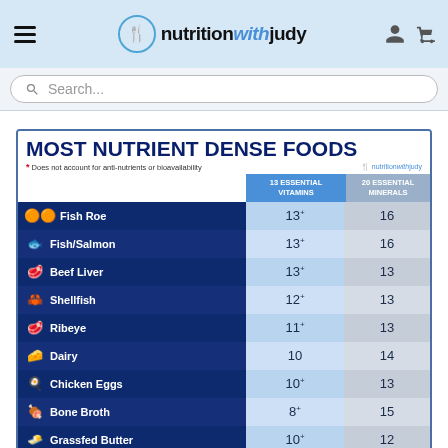nutritionwithjudy
[Figure (screenshot): Website header with hamburger menu, nutritionwithjudy logo, user and cart icons on light blue background]
Search...
MOST NUTRIENT DENSE FOODS
* Does not account for anti-nutrients or bioavailability
| Food | 13 ESSENTIAL VITAMINS | 20 ESSENTIAL MINERALS |
| --- | --- | --- |
| Fish Roe | 13+ | 16 |
| Fish/Salmon | 13+ | 16 |
| Beef Liver | 13+ | 13 |
| Shellfish | 12+ | 13 |
| Ribeye | 11+ | 13 |
| Dairy | 10 | 14 |
| Chicken Eggs | 10+ | 13 |
| Bone Broth | 8+ | 15 |
| Grassfed Butter | 10+ | 12 |
| Lamb Chops | 10+ | 11 |